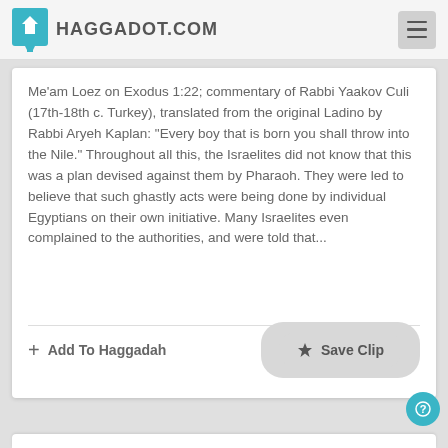HAGGADOT.COM
Me'am Loez on Exodus 1:22; commentary of Rabbi Yaakov Culi (17th-18th c. Turkey), translated from the original Ladino by Rabbi Aryeh Kaplan: "Every boy that is born you shall throw into the Nile." Throughout all this, the Israelites did not know that this was a plan devised against them by Pharaoh. They were led to believe that such ghastly acts were being done by individual Egyptians on their own initiative. Many Israelites even complained to the authorities, and were told that...
+ Add To Haggadah
★ Save Clip